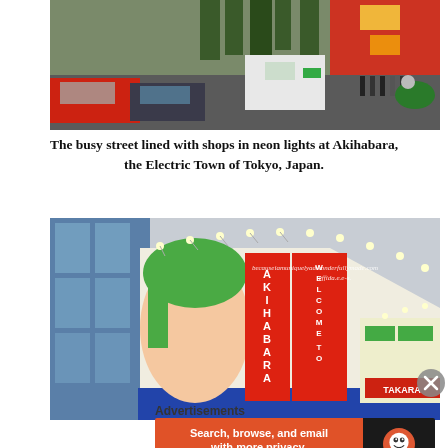[Figure (photo): Busy street lined with shops and neon lights at Akihabara, Tokyo, Japan. Shows traffic, pedestrians, delivery trucks, and a motorcyclist.]
The busy street lined with shops in neon lights at Akihabara, the Electric Town of Tokyo, Japan.
[Figure (photo): Building rooftop with large anime character billboard reading 'AKIHABARA WELCOME TO' with manga-style characters and decorative lights. Watermark reads 'becauseiamuniquelyadwonderfullymade.com effida.e.e-s.']
Advertisements
[Figure (other): DuckDuckGo advertisement banner: 'Search, browse, and email with more privacy. All in One Free App' on orange background with DuckDuckGo logo on dark background.]